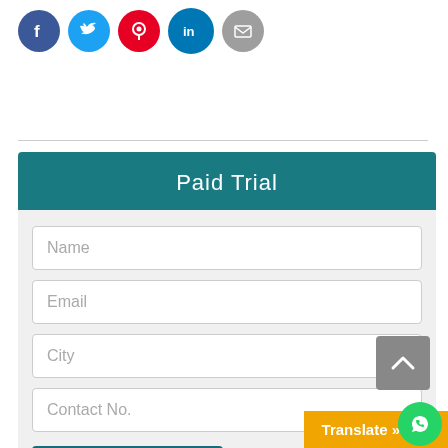[Figure (infographic): Row of 5 social media icon circles: Facebook (blue), Twitter (light blue), Pinterest (red), LinkedIn (blue), Email (grey)]
Paid Trial
Name
Email
City
Contact No.
Get Your Paid Trial
Translate »